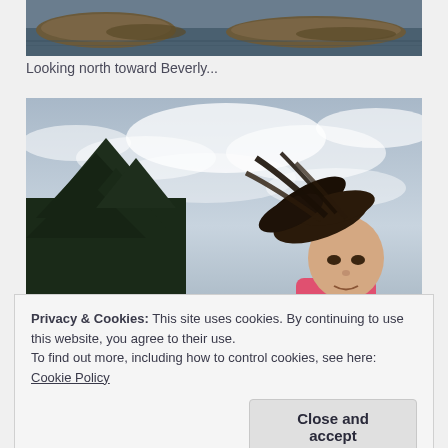[Figure (photo): Cropped coastal photograph showing rocky outcrop and water, looking north toward Beverly]
Looking north toward Beverly...
[Figure (photo): Outdoor photo of a young girl with wind-blown curly hair against a cloudy sky, with dark evergreen trees on the left, wearing a pink top]
Privacy & Cookies: This site uses cookies. By continuing to use this website, you agree to their use.
To find out more, including how to control cookies, see here: Cookie Policy
Close and accept
[Figure (photo): Partially visible photograph at the bottom of the page showing red structure and foliage]